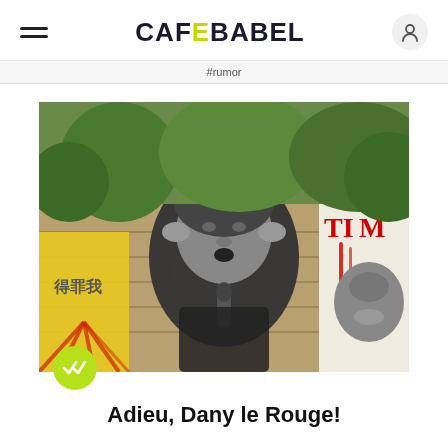CAFEBABEL
#rumor
[Figure (photo): A street art mural on a stone wall depicting a young man singing into a microphone, painted in black and white. To the left are Chinese characters on a yellow background with red spray paint rays. To the right is a partial image resembling a TIME magazine cover with a woman's face and red drips.]
Adieu, Dany le Rouge!